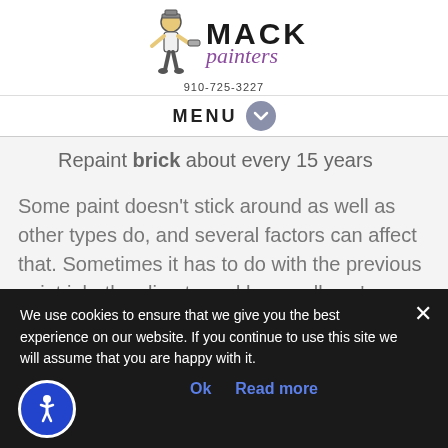[Figure (logo): Mack Painters logo with cartoon painter figure and company name]
910-725-3227
MENU
Repaint brick about every 15 years
Some paint doesn't stick around as well as other types do, and several factors can affect that. Sometimes it has to do with the previous paint job, the climate and how well you've
We use cookies to ensure that we give you the best experience on our website. If you continue to use this site we will assume that you are happy with it.
Ok   Read more